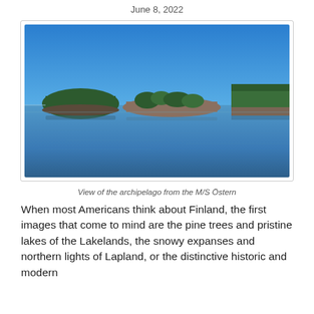June 8, 2022
[Figure (photo): Panoramic view of a Finnish archipelago from the M/S Östern. Blue sky and calm blue water reflecting rocky islands covered with pine trees.]
View of the archipelago from the M/S Östern
When most Americans think about Finland, the first images that come to mind are the pine trees and pristine lakes of the Lakelands, the snowy expanses and northern lights of Lapland, or the distinctive historic and modern